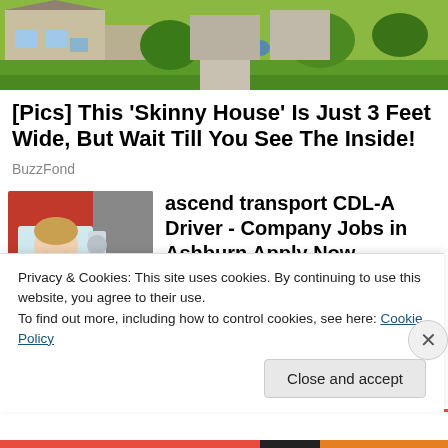[Figure (photo): Aerial/street view photo of suburban house with green lawn and landscaping]
[Pics] This 'Skinny House' Is Just 3 Feet Wide, But Wait Till You See The Inside!
BuzzFond
[Figure (photo): Photo of a woman truck driver sitting in a red semi truck cab, smiling]
ascend transport CDL-A Driver - Company Jobs in Ashburn Apply Now
jobble.com
[Figure (photo): Partial photo - dark image, partially obscured by cookie banner]
Camp Lejeune Water
Privacy & Cookies: This site uses cookies. By continuing to use this website, you agree to their use.
To find out more, including how to control cookies, see here: Cookie Policy
Close and accept